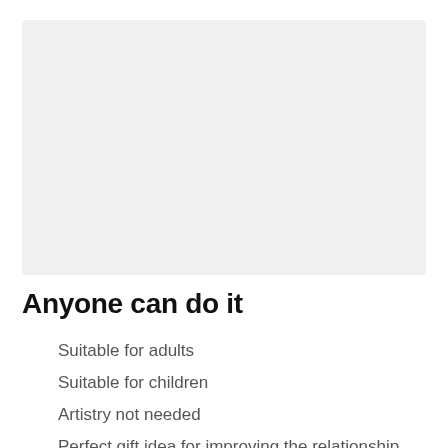[Figure (photo): Large rectangular image placeholder with light gray background]
Anyone can do it
Suitable for adults
Suitable for children
Artistry not needed
Perfect gift idea for improving the relationship
Exquisite decoration suitable for any room